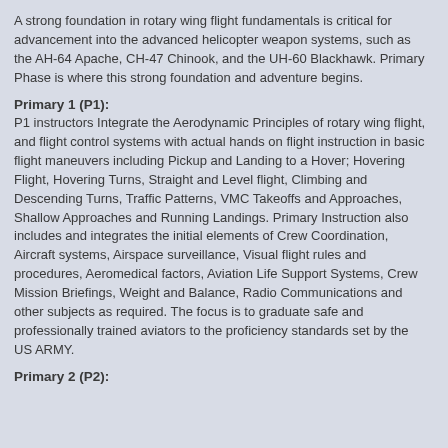A strong foundation in rotary wing flight fundamentals is critical for advancement into the advanced helicopter weapon systems, such as the AH-64 Apache, CH-47 Chinook, and the UH-60 Blackhawk. Primary Phase is where this strong foundation and adventure begins.
Primary 1 (P1):
P1 instructors Integrate the Aerodynamic Principles of rotary wing flight, and flight control systems with actual hands on flight instruction in basic flight maneuvers including Pickup and Landing to a Hover; Hovering Flight, Hovering Turns, Straight and Level flight, Climbing and Descending Turns, Traffic Patterns, VMC Takeoffs and Approaches, Shallow Approaches and Running Landings. Primary Instruction also includes and integrates the initial elements of Crew Coordination, Aircraft systems, Airspace surveillance, Visual flight rules and procedures, Aeromedical factors, Aviation Life Support Systems, Crew Mission Briefings, Weight and Balance, Radio Communications and other subjects as required. The focus is to graduate safe and professionally trained aviators to the proficiency standards set by the US ARMY.
Primary 2 (P2):